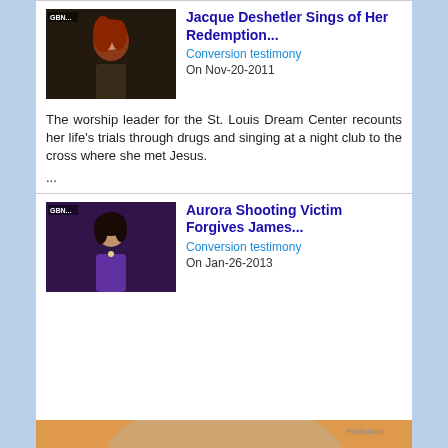[Figure (screenshot): Video thumbnail of woman with red curly hair, GBN logo visible, dark background]
Jacque Deshetler Sings of Her Redemption...
Conversion testimony
On Nov-20-2011
The worship leader for the St. Louis Dream Center recounts her life's trials through drugs and singing at a night club to the cross where she met Jesus.
...
[Figure (screenshot): Video thumbnail of woman with dark hair in purple outfit, GBN logo visible, dark purple background]
Aurora Shooting Victim Forgives James...
Conversion testimony
On Jan-26-2013
[Figure (photo): Young blonde woman lying down looking sad, holding tissue, pill packets visible on surface, orange background. Publicidad watermark in top right.]